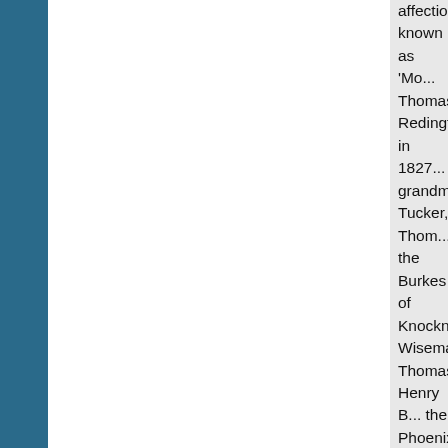affectionately known as 'Mo... Thomas Redington in 1827... grandmother Tucker, Thom... the Burkes of Knocknagur... Wiseman. Thomas Henry B... the Phoenix Park in 1882, ... cousin and private secreta... Theobald ('Bobby', later Si... frequent guest in the Redin...
Thomas N Redington was ... 1837-46. During the Famin... Catholic Under Secretary f... 1849. J G Grace redesigne... [LE6/E/78] and Matilda de ... she visited the house in the... atmosphere and was full o... [P25].
In 1842 Thomas N Reding... daughter of John Talbot of ... with the Talbot family was v... as the Talbots had a wide n... contacts in Ireland, Englan... N Redington and Anne Eliz... Towers, Cheadle, near Che... home of England's premier... Earl of Shrewsbury and his... cousin of Anne Eliza. Lady ... 87] to Anne Eliza give a de...